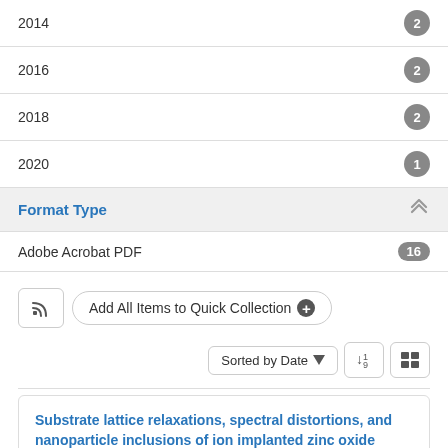2014  2
2016  2
2018  2
2020  1
Format Type
Adobe Acrobat PDF  16
Add All Items to Quick Collection
Sorted by Date
Substrate lattice relaxations, spectral distortions, and nanoparticle inclusions of ion implanted zinc oxide